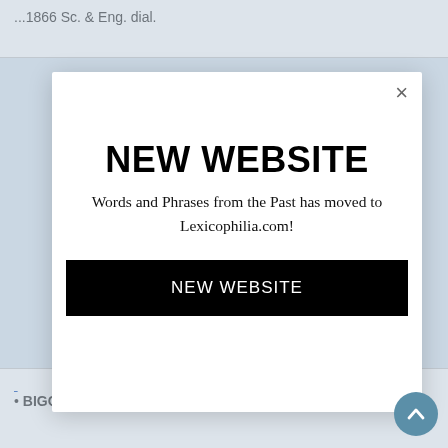...1866 Sc. & Eng. dial.
NEW WEBSITE
Words and Phrases from the Past has moved to Lexicophilia.com!
NEW WEBSITE
• BIGGIT built ...1813 Sc.